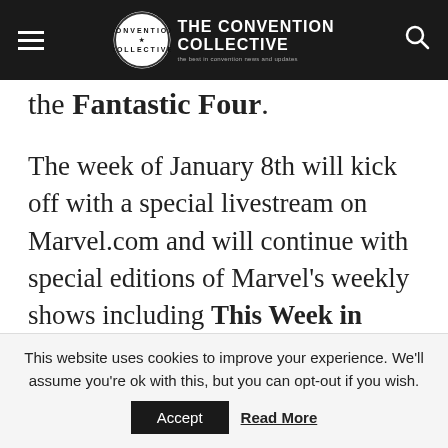The Convention Collective — the best in convention news and updates
the Fantastic Four.
The week of January 8th will kick off with a special livestream on Marvel.com and will continue with special editions of Marvel's weekly shows including This Week in Marvel and Earth's Mightiest Show.
To commemorate over 50 years of the team, Marvel will release variant covers that feature of of the
This website uses cookies to improve your experience. We'll assume you're ok with this, but you can opt-out if you wish. Accept Read More